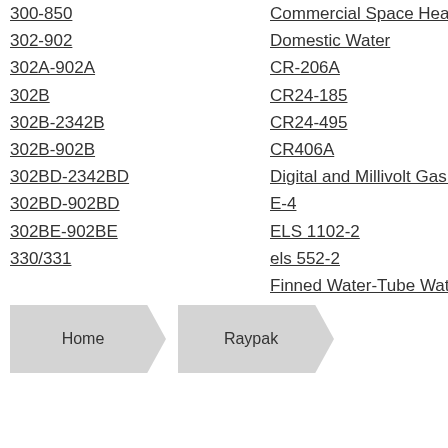300-850
302-902
302A-902A
302B
302B-2342B
302B-902B
302BD-2342BD
302BD-902BD
302BE-902BE
330/331
Commercial Space Heating a...
Domestic Water
CR-206A
CR24-185
CR24-495
CR406A
Digital and Millivolt Gas Heat...
E-4
ELS 1102-2
els 552-2
Finned Water-Tube Water He...
Home
Raypak